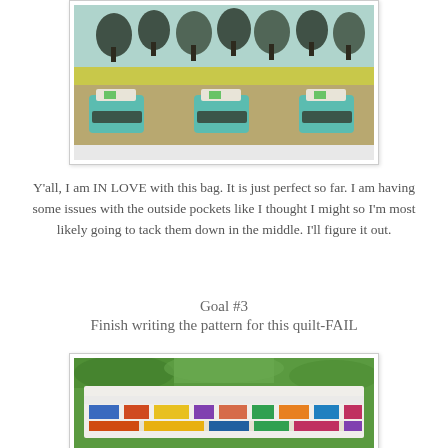[Figure (photo): A handmade fabric bag with a typewriter pattern and tree motifs on a light blue background, sitting on a white surface.]
Y'all, I am IN LOVE with this bag. It is just perfect so far. I am having some issues with the outside pockets like I thought I might so I'm most likely going to tack them down in the middle. I'll figure it out.
Goal #3
Finish writing the pattern for this quilt-FAIL
[Figure (photo): A colorful quilt with horizontal strips in various colors and patterns, hanging outdoors among green trees.]